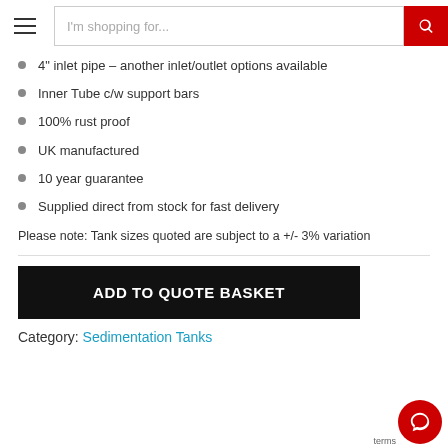I'm shopping for...
4" inlet pipe – another inlet/outlet options available
Inner Tube c/w support bars
100% rust proof
UK manufactured
10 year guarantee
Supplied direct from stock for fast delivery
Please note: Tank sizes quoted are subject to a +/- 3% variation
ADD TO QUOTE BASKET
Category: Sedimentation Tanks